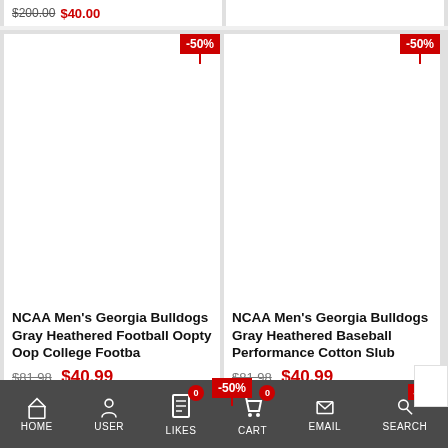[Figure (screenshot): Top strip showing partial product cards with strikethrough prices and red sale prices, cropped from previous row]
[Figure (photo): Product card: NCAA Men's Georgia Bulldogs Gray Heathered Football Oopty Oop College Footba, -50% discount badge, white product image area]
NCAA Men's Georgia Bulldogs Gray Heathered Football Oopty Oop College Footba
$81.98  $40.99
[Figure (photo): Product card: NCAA Men's Georgia Bulldogs Gray Heathered Baseball Performance Cotton Slub, -50% discount badge, white product image area]
NCAA Men's Georgia Bulldogs Gray Heathered Baseball Performance Cotton Slub
$81.98  $40.99
HOME  USER  LIKES  0  CART  0  EMAIL  SEARCH